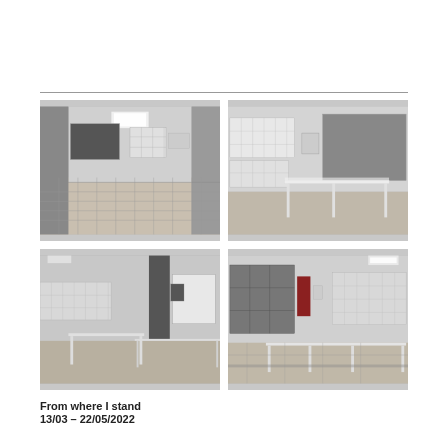[Figure (photo): Four gallery installation photos showing 'From where I stand' exhibition. Top-left: wide view of gallery room with large grid of photos on floor and artworks on walls. Top-right: close-up of gallery corner with display table and photos on walls. Bottom-left: another gallery angle with display tables and artworks. Bottom-right: gallery view showing large format photographs and display tables.]
From where I stand
13/03 – 22/05/2022